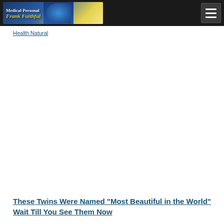Health Natural
[Figure (screenshot): Website header/navigation bar with logo on dark background and hamburger menu icon on the right]
Health Natural
[Figure (photo): Advertisement or empty image area in the middle of the page]
These Twins Were Named "Most Beautiful in the World" Wait Till You See Them Now